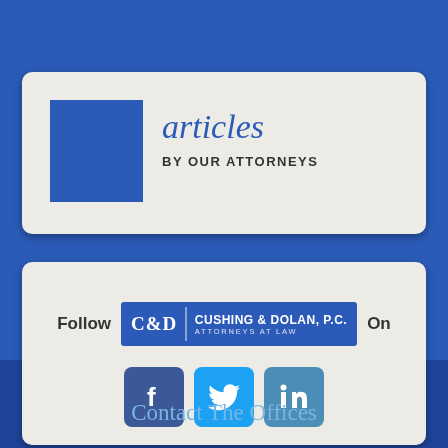[Figure (illustration): Articles by our attorneys card with blue square icon, italic 'articles' title and 'BY OUR ATTORNEYS' subtitle on a light gray rounded card over blue background]
[Figure (logo): Follow Cushing & Dolan, P.C. Attorneys at Law social media section with Facebook, Twitter, and LinkedIn icons on a light gray rounded card]
Contact The Offices